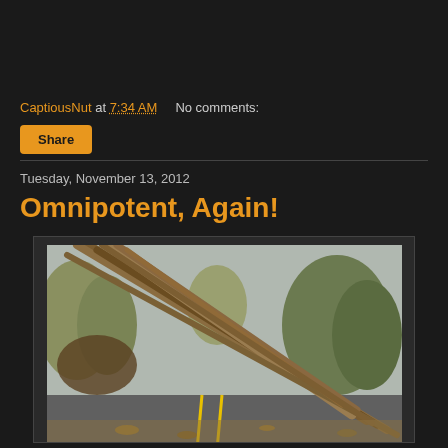CaptiousNut at 7:34 AM   No comments:
Share
Tuesday, November 13, 2012
Omnipotent, Again!
[Figure (photo): Fallen trees lying across a road after a storm, covering the road with bare trunks and branches. Trees and shrubs visible in background.]